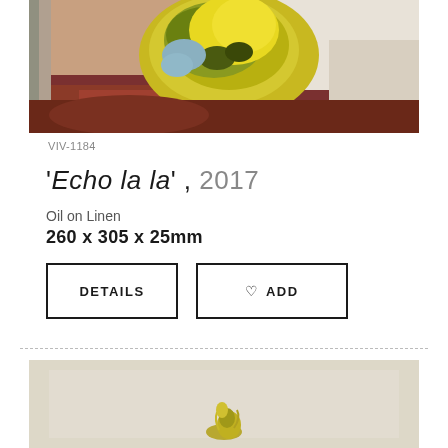[Figure (photo): Colorful oil painting on linen showing an abstract face with yellow, green, blue and earthy brown tones]
VIV-1184
'Echo la la', 2017
Oil on Linen
260 x 305 x 25mm
DETAILS
♡ ADD
[Figure (photo): Partial view of another oil painting with beige/cream background and a small yellow-green figure or object at the bottom]